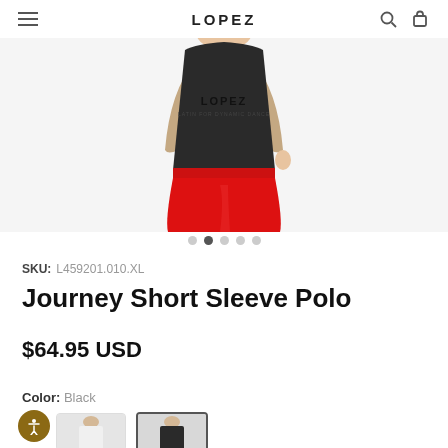LOPEZ
[Figure (photo): Woman wearing a black short sleeve polo top and a red pencil skirt, shown from mid-torso up. Image carousel with 5 dots, second dot active.]
SKU: L459201.010.XL
Journey Short Sleeve Polo
$64.95 USD
Color: Black
[Figure (photo): Two product thumbnail swatches — white/light version and black version (active, with border).]